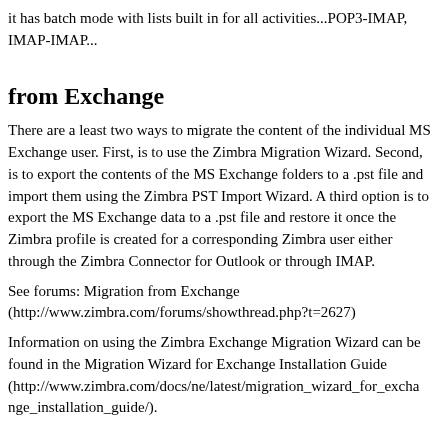it has batch mode with lists built in for all activities...POP3-IMAP, IMAP-IMAP...
from Exchange
There are a least two ways to migrate the content of the individual MS Exchange user. First, is to use the Zimbra Migration Wizard. Second, is to export the contents of the MS Exchange folders to a .pst file and import them using the Zimbra PST Import Wizard. A third option is to export the MS Exchange data to a .pst file and restore it once the Zimbra profile is created for a corresponding Zimbra user either through the Zimbra Connector for Outlook or through IMAP.
See forums: Migration from Exchange (http://www.zimbra.com/forums/showthread.php?t=2627)
Information on using the Zimbra Exchange Migration Wizard can be found in the Migration Wizard for Exchange Installation Guide (http://www.zimbra.com/docs/ne/latest/migration_wizard_for_exchange_installation_guide/).